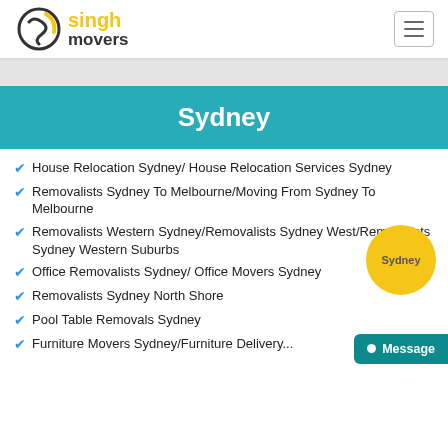Singh Movers
Sydney
House Relocation Sydney/ House Relocation Services Sydney
Removalists Sydney To Melbourne/Moving From Sydney To Melbourne
Removalists Western Sydney/Removalists Sydney West/Removalists Sydney Western Suburbs
Office Removalists Sydney/ Office Movers Sydney
Removalists Sydney North Shore
Pool Table Removals Sydney
Furniture Movers Sydney/Furniture Delivery...